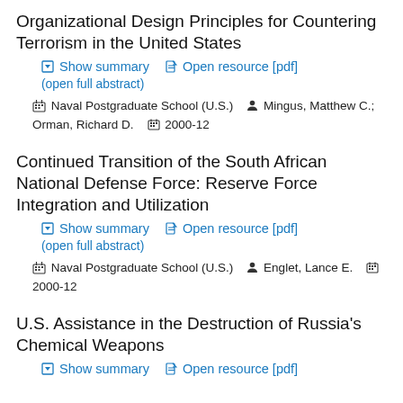Organizational Design Principles for Countering Terrorism in the United States
Show summary   Open resource [pdf]   (open full abstract)
Naval Postgraduate School (U.S.)   Mingus, Matthew C.; Orman, Richard D.   2000-12
Continued Transition of the South African National Defense Force: Reserve Force Integration and Utilization
Show summary   Open resource [pdf]   (open full abstract)
Naval Postgraduate School (U.S.)   Englet, Lance E.   2000-12
U.S. Assistance in the Destruction of Russia's Chemical Weapons
Show summary   Open resource [pdf]